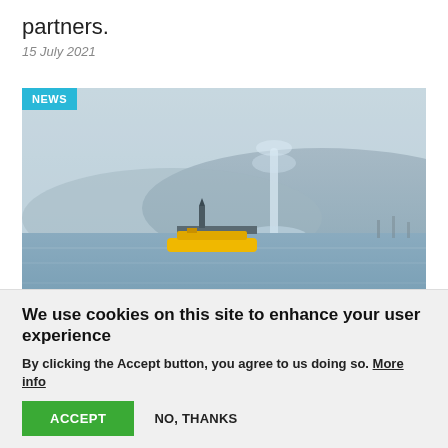partners.
15 July 2021
[Figure (photo): Lake Geneva waterfront scene with a yellow boat on blue water and the Jet d'Eau fountain in the background, hills and cityscape visible on the far shore. A 'NEWS' badge appears in the top-left corner.]
We use cookies on this site to enhance your user experience
By clicking the Accept button, you agree to us doing so. More info
ACCEPT
NO, THANKS